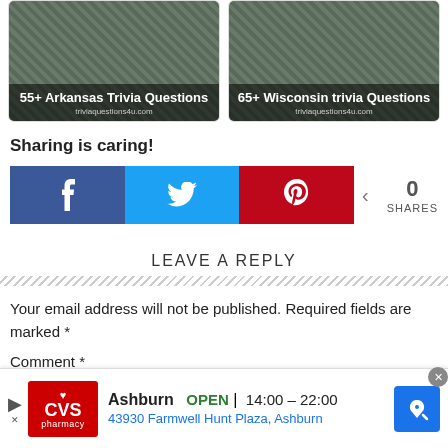[Figure (screenshot): Two trivia article thumbnail cards: '55+ Arkansas Trivia Questions' and '65+ Wisconsin trivia Questions']
Sharing is caring!
[Figure (infographic): Social sharing buttons: Facebook (blue), Twitter (cyan), Pinterest (red), with share count showing 0 SHARES]
LEAVE A REPLY
Your email address will not be published. Required fields are marked *
Comment *
[Figure (screenshot): CVS Pharmacy advertisement: Ashburn OPEN 14:00 - 22:00, 43930 Farmwell Hunt Plaza, Ashburn]